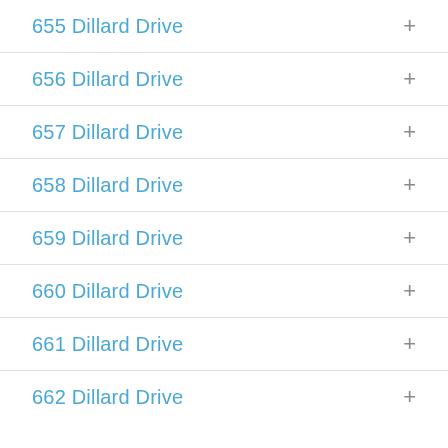655 Dillard Drive
656 Dillard Drive
657 Dillard Drive
658 Dillard Drive
659 Dillard Drive
660 Dillard Drive
661 Dillard Drive
662 Dillard Drive